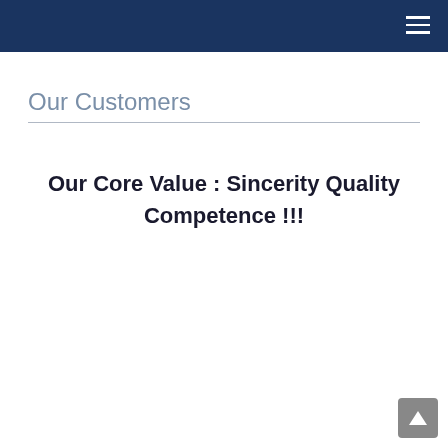Our Customers
Our Core Value : Sincerity Quality Competence !!!